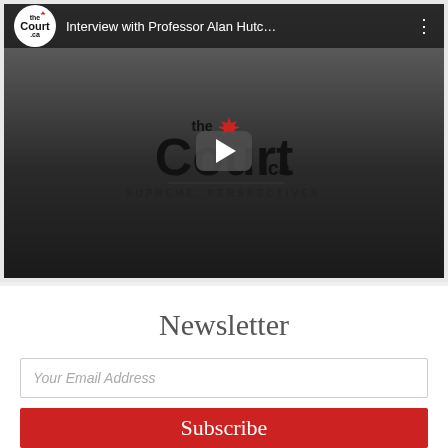[Figure (screenshot): YouTube video player showing 'Interview with Professor Alan Hutc...' on TheCourt.ca channel, with the TheCourt.ca logo (black text with 'the' above in a white circle, red maple leaf) and tagline 'SUPREME. PERSPECTIVES.' visible on a dark gradient background, with a play button in the center.]
Newsletter
Your Email Address
Subscribe